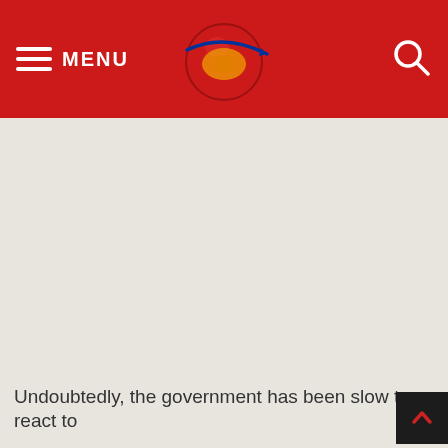MENU
Undoubtedly, the government has been slow to react to